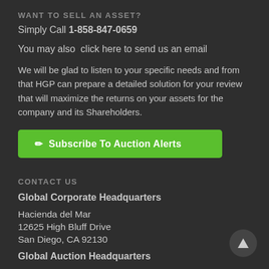WANT TO SELL AN ASSET?
Simply Call 1-858-847-0659
You may also  click here to send us an email
We will be glad to listen to your specific needs and from that HGP can prepare a detailed solution for your review that will maximize the returns on your assets for the company and its Shareholders.
[Figure (other): Green button: Subscribe To Auction Alerts with pencil icon]
CONTACT US
Global Corporate Headquarters
Hacienda del Mar
12625 High Bluff Drive
San Diego, CA 92130
Global Auction Headquarters